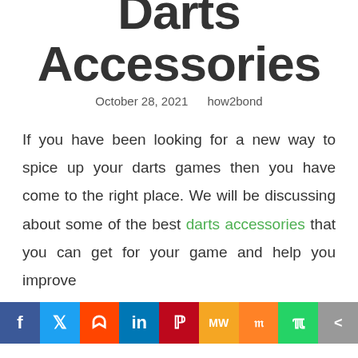Darts Accessories
October 28, 2021    how2bond
If you have been looking for a new way to spice up your darts games then you have come to the right place. We will be discussing about some of the best darts accessories that you can get for your game and help you improve
f  twitter  reddit  in  pinterest  MW  mix  whatsapp  share